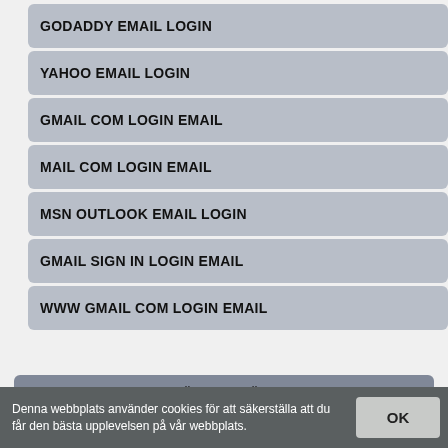GODADDY EMAIL LOGIN
YAHOO EMAIL LOGIN
GMAIL COM LOGIN EMAIL
MAIL COM LOGIN EMAIL
MSN OUTLOOK EMAIL LOGIN
GMAIL SIGN IN LOGIN EMAIL
WWW GMAIL COM LOGIN EMAIL
SLUMPMÄSSIGA SÖKNINGAR
Denna webbplats använder cookies för att säkerställa att du får den bästa upplevelsen på vår webbplats.